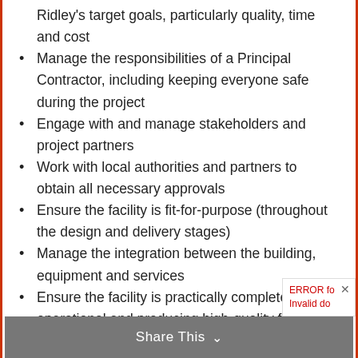Ridley's target goals, particularly quality, time and cost
Manage the responsibilities of a Principal Contractor, including keeping everyone safe during the project
Engage with and manage stakeholders and project partners
Work with local authorities and partners to obtain all necessary approvals
Ensure the facility is fit-for-purpose (throughout the design and delivery stages)
Manage the integration between the building, equipment and services
Ensure the facility is practically complete, operational and producing high-quality feed within the agreed program.
Share This